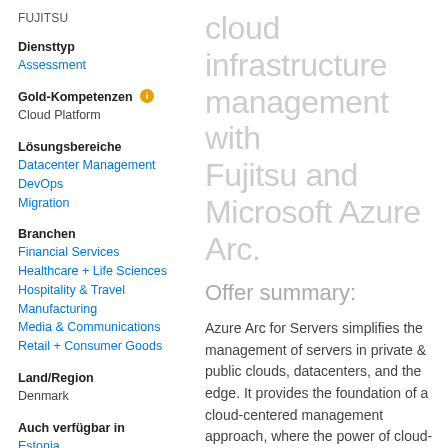FUJITSU
Diensttyp
Assessment
Gold-Kompetenzen
Cloud Platform
Lösungsbereiche
Datacenter Management
DevOps
Migration
Branchen
Financial Services
Healthcare + Life Sciences
Hospitality & Travel
Manufacturing
Media & Communications
Retail + Consumer Goods
Land/Region
Denmark
Auch verfügbar in
Estonia
Finland
France
Ireland
cloud infrastructure management with Fujitsu and Microsoft Azure Arc.
Offer summary:
Azure Arc for Servers simplifies the management of servers in private & public clouds, datacenters, and the edge. It provides the foundation of a cloud-centered management approach, where the power of cloud-based management practices can be extended